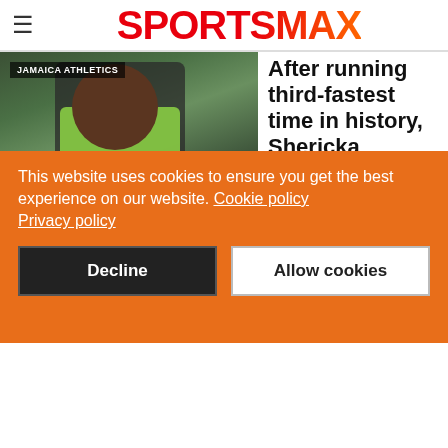SPORTSMAX
[Figure (photo): Shericka Jackson in a green Puma jersey at a track athletics event, with JAMAICA ATHLETICS tag overlay]
After running third-fastest time in history, Shericka Jackson believes she can go even faster
This website uses cookies to ensure you get the best experience on our website. Cookie policy Privacy policy
Decline
Allow cookies